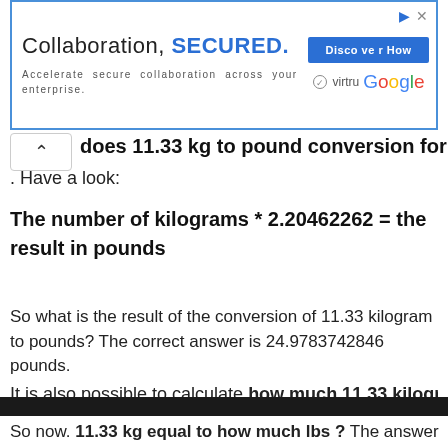[Figure (other): Advertisement banner: Collaboration, SECURED. Accelerate secure collaboration across your enterprise. Discover How button. Virtru Google logos.]
does 11.33 kg to pound conversion formula look?
. Have a look:
So what is the result of the conversion of 11.33 kilogram to pounds? The correct answer is 24.9783742846 pounds.
It is also possible to calculate how much 11.33 kilogram
By browsing our website, you agree to our use of cookies. Find out more by visiting our. Privacy Policy here.
So now. 11.33 kg equal to how much lbs ? The answer